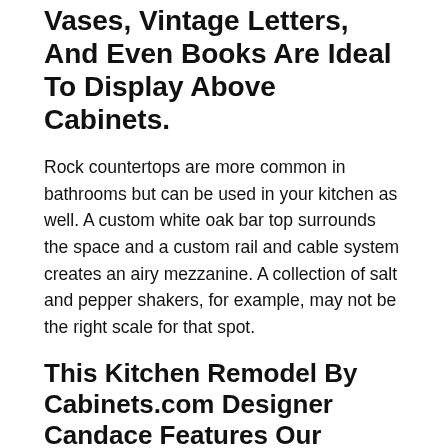Vases, Vintage Letters, And Even Books Are Ideal To Display Above Cabinets.
Rock countertops are more common in bathrooms but can be used in your kitchen as well. A custom white oak bar top surrounds the space and a custom rail and cable system creates an airy mezzanine. A collection of salt and pepper shakers, for example, may not be the right scale for that spot.
This Kitchen Remodel By Cabinets.com Designer Candace Features Our Hawthorne Cabinetry In Bright White With A Subtle Brushed Gray Glaze.
When autocomplete results are available. Well help inspire you with 7 ideas for decorating upper kitchen cabinets: See more ideas about top of cabinets, cabinet decor, decorating above kitchen cabinets.